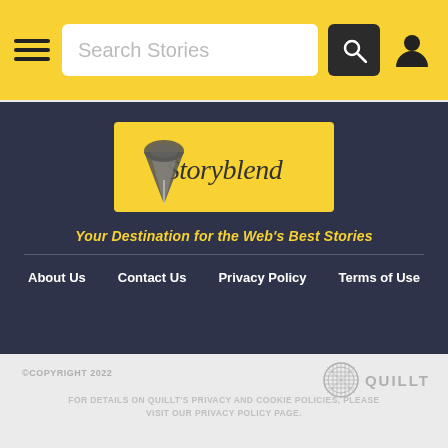Search Stories
[Figure (logo): Storyblend logo with pen nib on yellow background, italic script text reading Storyblend]
Your Destination for the Web's Best Stories
About Us
Contact Us
Privacy Policy
Terms of Use
©COPYRIGHT 2022
[Figure (logo): Quillt logo: globe/sphere icon with hatching pattern and bold text QUILLT]
FOR DETAILS ON QUILLT'S PRIVACY AND COOKIE POLICIES, PLEASE VISIT OUR PRIVACY POLICY PAGE.